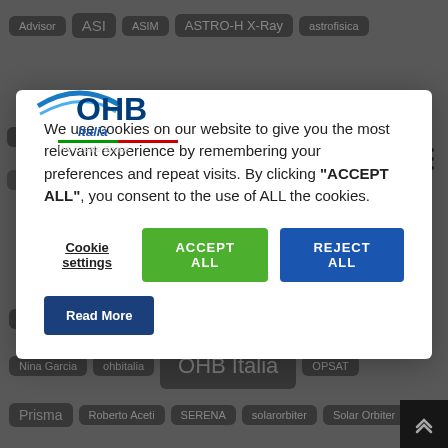[Figure (screenshot): OHB Italia website background showing tag cloud with navigation buttons and cookie consent modal overlay. Tags visible include: Advisor, ASI, ASIM, ASTRO-H X-Ray, astrofisica, BepIcolombo, BiOMASS, CGS, CIMR mission, Cleanroom facility, Comet Interceptor, EAGLET, ESA, microsatellite, MUDAM, NAOS, NEOSTEL, newspace, Nina Garcia, ohbitalia, OHB Italia, OPSAT, Prisma, Roberto Aceti, SERENA, solarorbiter, Solar Orbiter]
We use cookies on our website to give you the most relevant experience by remembering your preferences and repeat visits.  By clicking “ACCEPT ALL”, you consent to the use of ALL the cookies.
Cookie settings
ACCEPT ALL
REJECT ALL
Read More